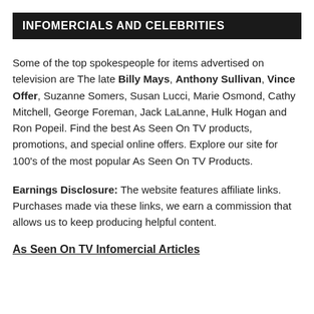INFOMERCIALS AND CELEBRITIES
Some of the top spokespeople for items advertised on television are The late Billy Mays, Anthony Sullivan, Vince Offer, Suzanne Somers, Susan Lucci, Marie Osmond, Cathy Mitchell, George Foreman, Jack LaLanne, Hulk Hogan and Ron Popeil. Find the best As Seen On TV products, promotions, and special online offers. Explore our site for 100's of the most popular As Seen On TV Products.
Earnings Disclosure: The website features affiliate links. Purchases made via these links, we earn a commission that allows us to keep producing helpful content.
As Seen On TV Infomercial Articles